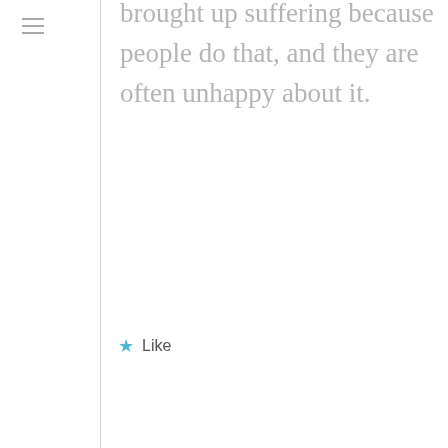brought up suffering because people do that, and they are often unhappy about it.
Like
22
[Figure (photo): Avatar photo showing a pier/dock with blue sky and water, with a beach umbrella visible]
theoldadam on March 11, 2015 at 6:19 am
Since I have never seen a pure motive yet...I'd be wary of looking to anything that I have done as evidence of my sanctification.